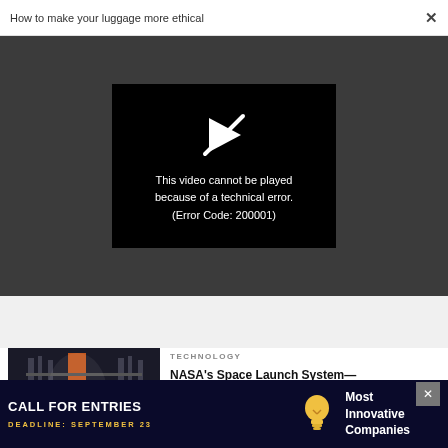How to make your luggage more ethical  ×
[Figure (screenshot): Video player showing error message on dark background. Black box with white play icon (crossed out) and white text: 'This video cannot be played because of a technical error. (Error Code: 200001)']
[Figure (photo): Thumbnail image of NASA Space Launch System rocket inside assembly building with scaffolding, dark industrial setting]
TECHNOLOGY
NASA's Space Launch System—whenever it comes—will mark the
[Figure (other): Advertisement banner: CALL FOR ENTRIES, DEADLINE: SEPTEMBER 23, light bulb icon, Most Innovative Companies text, close button]